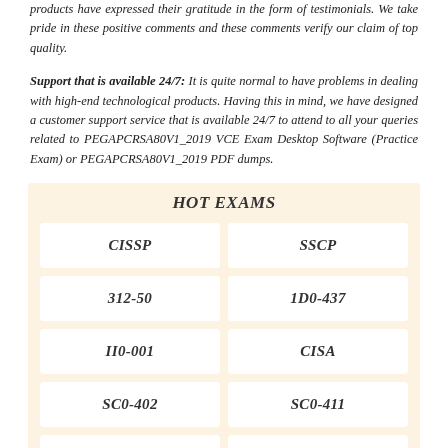products have expressed their gratitude in the form of testimonials. We take pride in these positive comments and these comments verify our claim of top quality.
Support that is available 24/7: It is quite normal to have problems in dealing with high-end technological products. Having this in mind, we have designed a customer support service that is available 24/7 to attend to all your queries related to PEGAPCRSA80V1_2019 VCE Exam Desktop Software (Practice Exam) or PEGAPCRSA80V1_2019 PDF dumps.
HOT EXAMS
| CISSP | SSCP |
| 312-50 | 1D0-437 |
| II0-001 | CISA |
| SC0-402 | SC0-411 |
| SC0-501 | SC0-502 |